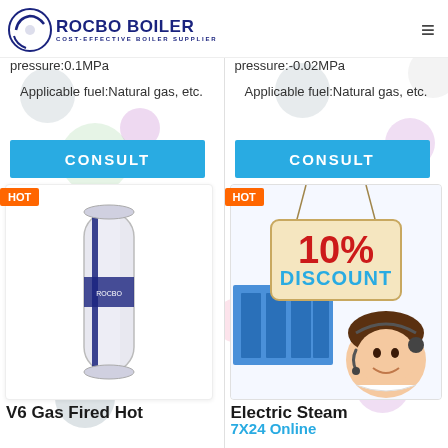ROCBO BOILER - COST-EFFECTIVE BOILER SUPPLIER
pressure:0.1MPa
Applicable fuel:Natural gas, etc.
CONSULT
HOT
[Figure (photo): V6 Gas Fired Hot Water Boiler product image - cylindrical white and blue boiler unit]
V6 Gas Fired Hot
pressure:-0.02MPa
Applicable fuel:Natural gas, etc.
CONSULT
HOT
[Figure (infographic): 10% DISCOUNT promotional image with customer service representative wearing headset, and industrial boiler equipment in background]
Electric Steam
7X24 Online